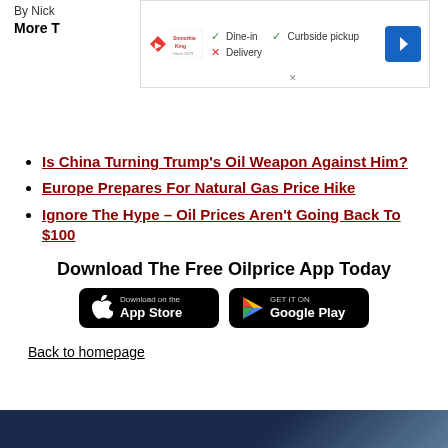By Nick
More T
[Figure (other): Advertisement banner for Smoothie King showing Dine-in (check), Curbside pickup (check), Delivery (cross) options with navigation icon]
Is China Turning Trump's Oil Weapon Against Him?
Europe Prepares For Natural Gas Price Hike
Ignore The Hype – Oil Prices Aren't Going Back To $100
Download The Free Oilprice App Today
[Figure (other): Download on the App Store button (Apple)]
[Figure (other): Get it on Google Play button]
Back to homepage
[Figure (other): Dark blue footer banner image at bottom of page]